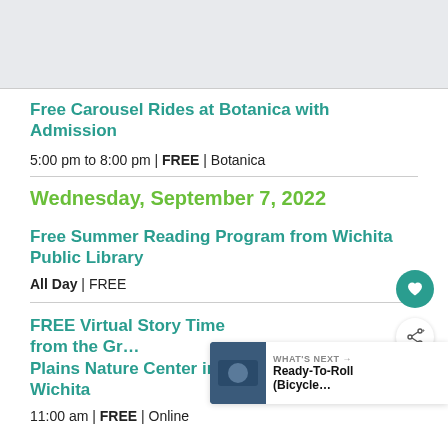[Figure (photo): Gray image placeholder area at the top of the page]
Free Carousel Rides at Botanica with Admission
5:00 pm to 8:00 pm | FREE | Botanica
Wednesday, September 7, 2022
Free Summer Reading Program from Wichita Public Library
All Day | FREE
FREE Virtual Story Time from the Gr… Plains Nature Center in Wichita
11:00 am | FREE | Online